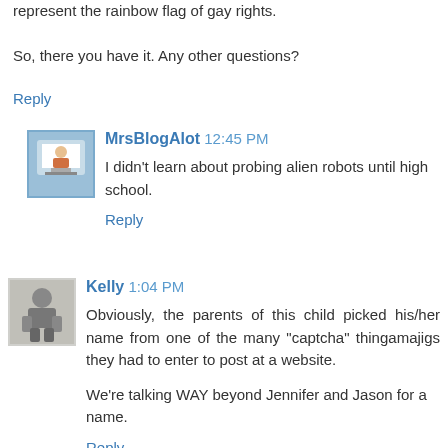represent the rainbow flag of gay rights.
So, there you have it. Any other questions?
Reply
MrsBlogAlot 12:45 PM
I didn't learn about probing alien robots until high school.
Reply
Kelly 1:04 PM
Obviously, the parents of this child picked his/her name from one of the many "captcha" thingamajigs they had to enter to post at a website.
We're talking WAY beyond Jennifer and Jason for a name.
Reply